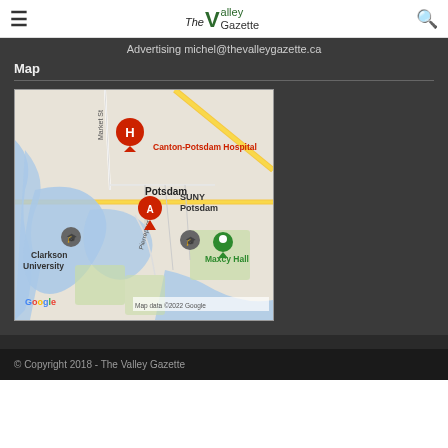≡  The Valley Gazette  🔍
Advertising michel@thevalleygazette.ca
Map
[Figure (map): Google Maps embed showing Potsdam, NY area with marker A, Canton-Potsdam Hospital labeled in red, SUNY Potsdam, Clarkson University, Maxcy Hall, and surrounding streets and waterways. Map data ©2022 Google.]
© Copyright 2018 - The Valley Gazette